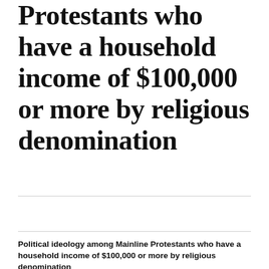Protestants who have a household income of $100,000 or more by religious denomination
Chart | Table | Share
Political ideology among Mainline Protestants who have a household income of $100,000 or more by religious denomination